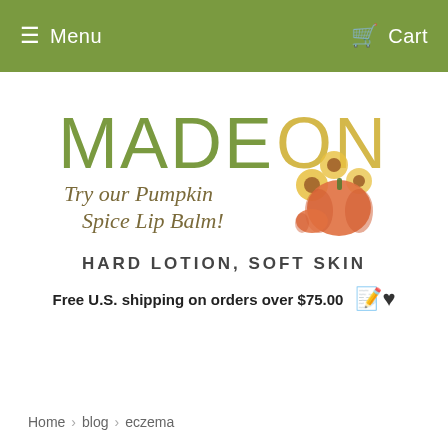Menu   Cart
[Figure (logo): MadeOn logo with pumpkin spice illustration — 'MADEON:' in olive and yellow-gold letters with 'Try our Pumpkin Spice Lip Balm!' in cursive script, decorated with watercolor pumpkins and sunflowers]
HARD LOTION, SOFT SKIN
Free U.S. shipping on orders over $75.00
Home › blog › eczema